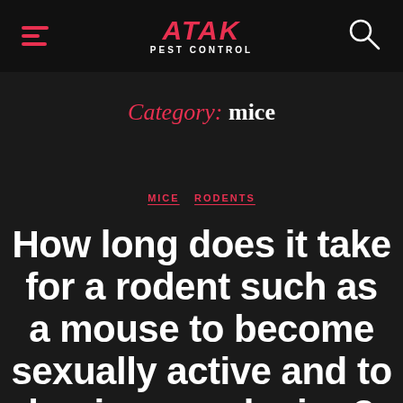ATAK PEST CONTROL
Category: mice
MICE  RODENTS
How long does it take for a rodent such as a mouse to become sexually active and to begin reproducing?